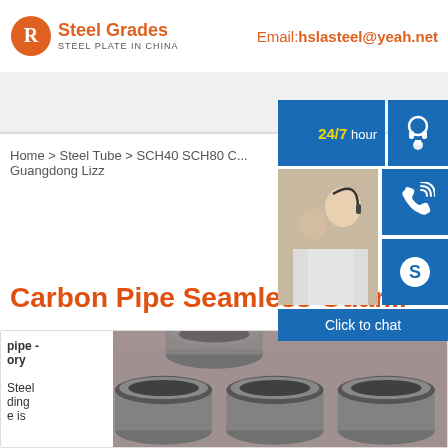Steel Grades - STEEL PLATE IN CHINA | Email: hslasteel@yeah.net
[Figure (screenshot): Website header with Steel Grades logo and email contact]
[Figure (infographic): 24/7 hour support panel with chat icons (headset, phone, Skype) and customer support photo]
Home > Steel Tube > SCH40 SCH80 C... Guangdong Lizz
Carbon Pipe Seamless Guar...
[Figure (photo): Photo of seamless carbon steel pipes stacked in a warehouse]
pipe - ory Steel ding e is